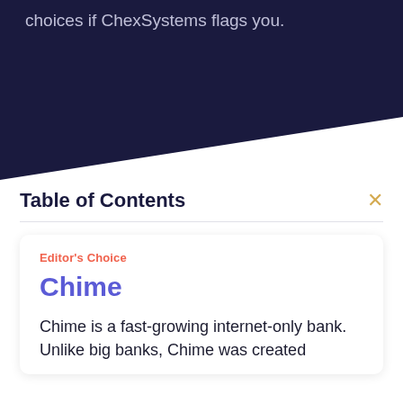choices if ChexSystems flags you.
Table of Contents
Editor's Choice
Chime
Chime is a fast-growing internet-only bank. Unlike big banks, Chime was created